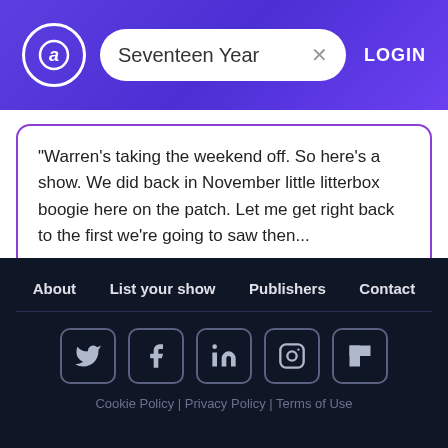Seventeen Year — search header with LOGIN
"Warren's taking the weekend off. So here's a show. We did back in November little litterbox boogie here on the patch. Let me get right back to the first we're going to saw then...
Warren
Mark
Sabrina
Serta
About | List your show | Publishers | Contact | Cookie Policy | Privacy Policy | Terms of Use